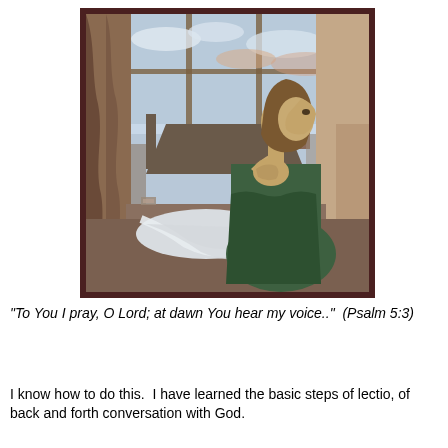[Figure (illustration): A Victorian-era oil painting showing a woman in a green dress seated at a table near a window, hands clasped in prayer, looking upward. Outside the window is a cityscape with rooftops and a cloudy sky. White fabric is draped on the table.]
"To You I pray, O Lord; at dawn You hear my voice.."  (Psalm 5:3)
I know how to do this.  I have learned the basic steps of lectio, of back and forth conversation with God.